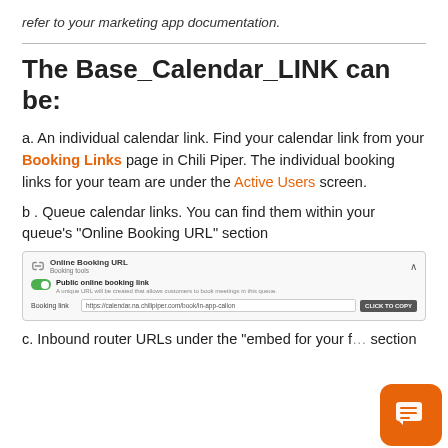refer to your marketing app documentation.
The Base_Calendar_LINK can be:
a. An individual calendar link. Find your calendar link from your Booking Links page in Chili Piper. The individual booking links for your team are under the Active Users screen.
b . Queue calendar links. You can find them within your queue's "Online Booking URL" section
[Figure (screenshot): Screenshot of Online Booking URL section in Chili Piper showing a toggle for Public online booking link and a booking link field with CLICK TO COPY button]
c.  Inbound router URLs under the "embed for your f… section